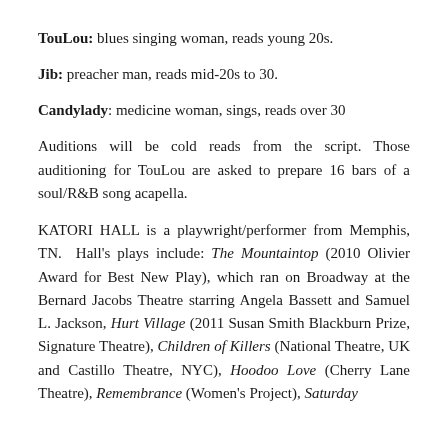TouLou: blues singing woman, reads young 20s.
Jib: preacher man, reads mid-20s to 30.
Candylady: medicine woman, sings, reads over 30
Auditions will be cold reads from the script. Those auditioning for TouLou are asked to prepare 16 bars of a soul/R&B song acapella.
KATORI HALL is a playwright/performer from Memphis, TN. Hall's plays include: The Mountaintop (2010 Olivier Award for Best New Play), which ran on Broadway at the Bernard Jacobs Theatre starring Angela Bassett and Samuel L. Jackson, Hurt Village (2011 Susan Smith Blackburn Prize, Signature Theatre), Children of Killers (National Theatre, UK and Castillo Theatre, NYC), Hoodoo Love (Cherry Lane Theatre), Remembrance (Women's Project), Saturday